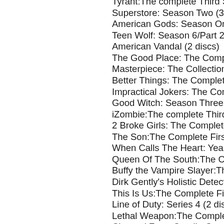Tyrant:The complete Third Season (3 discs)
Superstore: Season Two (3 discs)
American Gods: Season One (3 discs)
Teen Wolf: Season 6/Part 2 (3 discs)
American Vandal (2 discs)
The Good Place: The Complete First Season
Masterpiece: The Collection (3 discs)
Better Things: The Complete First Season
Impractical Jokers: The Complete Sixth Season
Good Witch: Season Three (3 discs)
iZombie:The complete Third Season
2 Broke Girls: The Complete Sixth Season
The Son:The Complete First Season
When Calls The Heart: Year Four
Queen Of The South:The Complete First Season
Buffy the Vampire Slayer:The Complete Series
Dirk Gently's Holistic Detective Agency
This Is Us:The Complete First Season
Line of Duty: Series 4 (2 discs)
Lethal Weapon:The Complete First Season
Channel Zero: Candle Cove - Season One
Taken: Season One (3 discs)
Doctor Who: Series Ten, Part Two
Power: The Complete Fourth Season
Sleepy Hollow: The Complete Series
Sleepy Hollow: The complete Fourth Season
Timeless: Season One (4 discs)